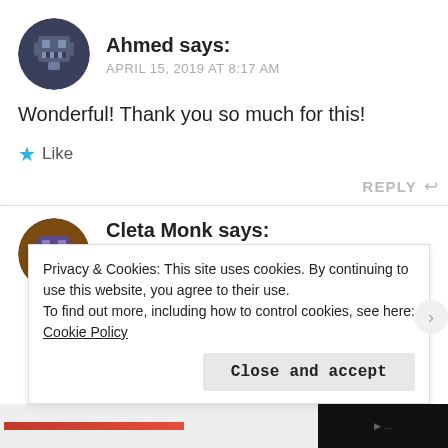[Figure (illustration): Circular avatar with dark blue/grey background showing a pixelated robot/character icon]
Ahmed says:
APRIL 15, 2019 AT 8:17 AM
Wonderful! Thank you so much for this!
★ Like
REPLY ↩
[Figure (illustration): Circular avatar with brown background showing a pixelated robot/character icon in purple]
Cleta Monk says:
NOVEMBER 30, 2019 AT 11:05 AM
Privacy & Cookies: This site uses cookies. By continuing to use this website, you agree to their use.
To find out more, including how to control cookies, see here: Cookie Policy
Close and accept